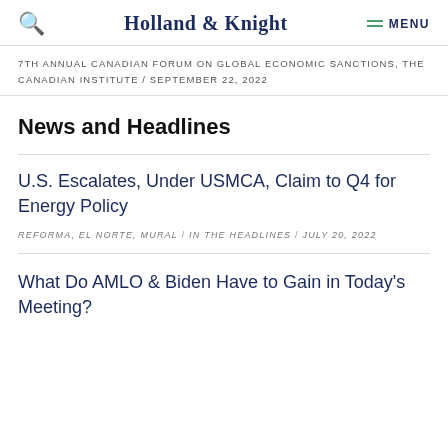Holland & Knight  MENU
7TH ANNUAL CANADIAN FORUM ON GLOBAL ECONOMIC SANCTIONS, THE CANADIAN INSTITUTE / SEPTEMBER 22, 2022
News and Headlines
U.S. Escalates, Under USMCA, Claim to Q4 for Energy Policy
REFORMA, EL NORTE, MURAL / IN THE HEADLINES / JULY 20, 2022
What Do AMLO & Biden Have to Gain in Today's Meeting?